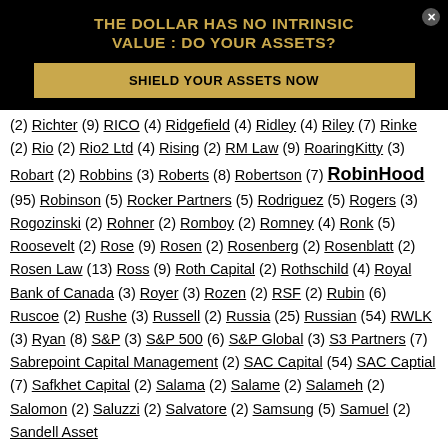[Figure (infographic): Black banner advertisement with gold text: 'THE DOLLAR HAS NO INTRINSIC VALUE : DO YOUR ASSETS?' and a gold 'SHIELD YOUR ASSETS NOW' button]
(2) Richter (9) RICO (4) Ridgefield (4) Ridley (4) Riley (7) Rinke (2) Rio (2) Rio2 Ltd (4) Rising (2) RM Law (9) RoaringKitty (3) Robart (2) Robbins (3) Roberts (8) Robertson (7) RobinHood (95) Robinson (5) Rocker Partners (5) Rodriguez (5) Rogers (3) Rogozinski (2) Rohner (2) Romboy (2) Romney (4) Ronk (5) Roosevelt (2) Rose (9) Rosen (2) Rosenberg (2) Rosenblatt (2) Rosen Law (13) Ross (9) Roth Capital (2) Rothschild (4) Royal Bank of Canada (3) Royer (3) Rozen (2) RSF (2) Rubin (6) Ruscoe (2) Rushe (3) Russell (2) Russia (25) Russian (54) RWLK (3) Ryan (8) S&P (3) S&P 500 (6) S&P Global (3) S3 Partners (7) Sabrepoint Capital Management (2) SAC Capital (54) SAC Captial (7) Safkhet Capital (2) Salama (2) Salame (2) Salameh (2) Salomon (2) Saluzzi (2) Salvatore (2) Samsung (5) Samuel (2) Sandell Asset